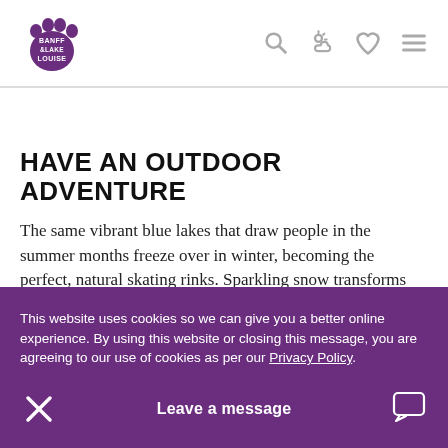Banff & Lake Louise logo with navigation icons: search, weather, favourites, menu
HAVE AN OUTDOOR ADVENTURE
The same vibrant blue lakes that draw people in the summer months freeze over in winter, becoming the perfect, natural skating rinks. Sparkling snow transforms family-friendly summer hikes into new
This website uses cookies so we can give you a better online experience. By using this website or closing this message, you are agreeing to our use of cookies as per our Privacy Policy.
Leave a message